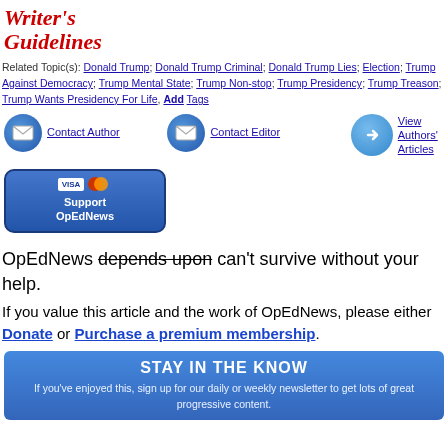[Figure (logo): Writer's Guidelines logo in red italic cursive text]
Related Topic(s): Donald Trump; Donald Trump Criminal; Donald Trump Lies; Election; Trump Against Democracy; Trump Mental State; Trump Non-stop; Trump Presidency; Trump Treason; Trump Wants Presidency For Life, Add Tags
[Figure (infographic): Three contact buttons: Contact Author (email icon), Contact Editor (email icon), View Authors' Articles (arrow icon)]
[Figure (infographic): Support OpEdNews button with Visa and MasterCard logos]
OpEdNews depends upon can't survive without your help.
If you value this article and the work of OpEdNews, please either Donate or Purchase a premium membership.
STAY IN THE KNOW
If you've enjoyed this, sign up for our daily or weekly newsletter to get lots of great progressive content.